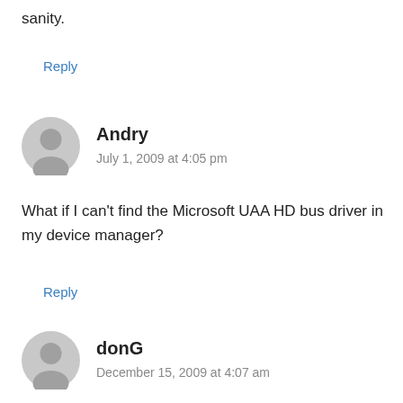sanity.
Reply
[Figure (illustration): Generic user avatar icon (grey silhouette) for Andry]
Andry
July 1, 2009 at 4:05 pm
What if I can't find the Microsoft UAA HD bus driver in my device manager?
Reply
[Figure (illustration): Generic user avatar icon (grey silhouette) for donG]
donG
December 15, 2009 at 4:07 am